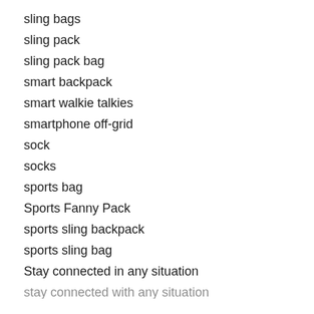sling bags
sling pack
sling pack bag
smart backpack
smart walkie talkies
smartphone off-grid
sock
socks
sports bag
Sports Fanny Pack
sports sling backpack
sports sling bag
Stay connected in any situation
stay connected with any situation